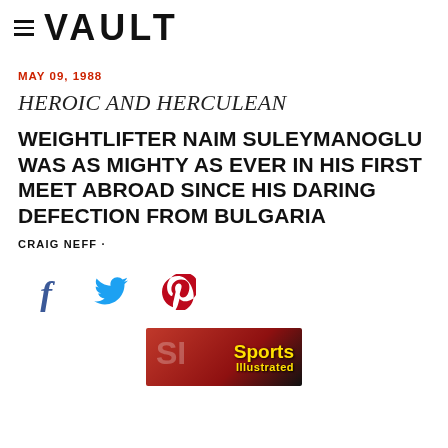≡ VAULT
MAY 09, 1988
HEROIC AND HERCULEAN
WEIGHTLIFTER NAIM SULEYMANOGLU WAS AS MIGHTY AS EVER IN HIS FIRST MEET ABROAD SINCE HIS DARING DEFECTION FROM BULGARIA
CRAIG NEFF ·
[Figure (illustration): Social share icons: Facebook (f), Twitter (bird), Pinterest (P)]
[Figure (photo): Partial Sports Illustrated magazine cover showing the SI logo and yellow 'Sports Illustrated' text on red background]